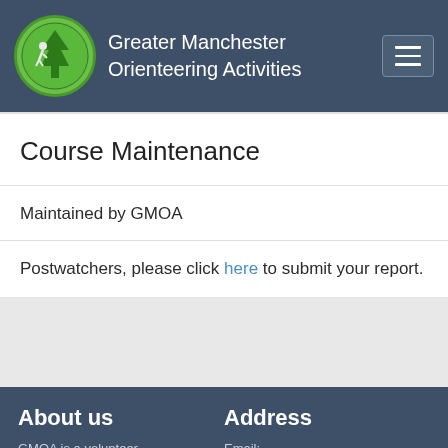Greater Manchester Orienteering Activities
Course Maintenance
Maintained by GMOA
Postwatchers, please click here to submit your report.
About us
GMOA is a volunteer organisation which creates
Address
Email:
enquiries@gmoa.org.uk